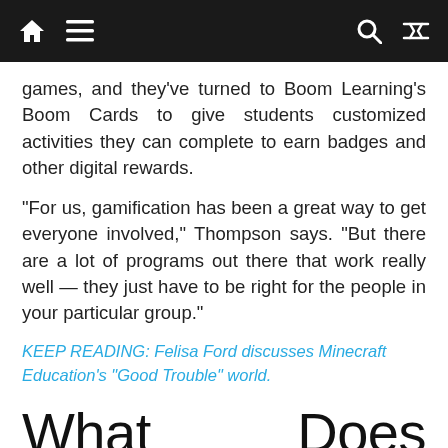Navigation bar with home, menu, search, and shuffle icons
games, and they've turned to Boom Learning's Boom Cards to give students customized activities they can complete to earn badges and other digital rewards.
“For us, gamification has been a great way to get everyone involved,” Thompson says. “But there are a lot of programs out there that work really well — they just have to be right for the people in your particular group.”
KEEP READING: Felisa Ford discusses Minecraft Education’s “Good Trouble” world.
What Does Special Education’s Future